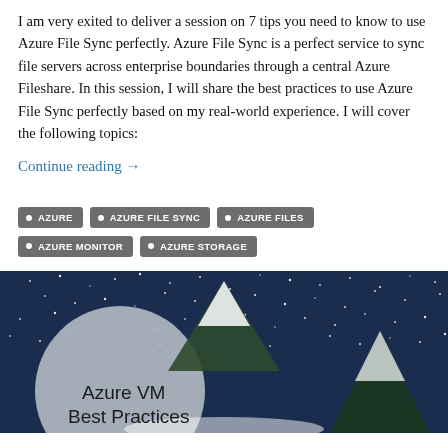I am very exited to deliver a session on 7 tips you need to know to use Azure File Sync perfectly. Azure File Sync is a perfect service to sync file servers across enterprise boundaries through a central Azure Fileshare. In this session, I will share the best practices to use Azure File Sync perfectly based on my real-world experience. I will cover the following topics:
Continue reading →
AZURE
AZURE FILE SYNC
AZURE FILES
AZURE MONITOR
AZURE STORAGE
[Figure (illustration): Dark blue night sky with stars and a snowy mountain scene. A large grey circle (moon) on the left side with text 'Azure VM Best Practices' overlaid.]